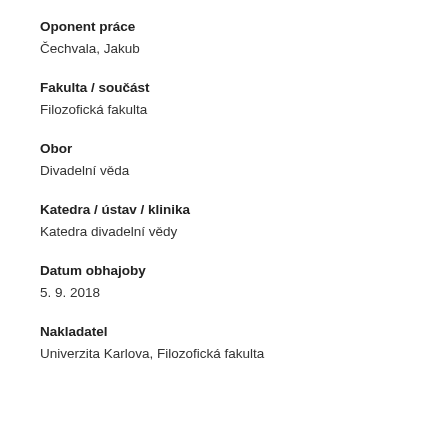Oponent práce
Čechvala, Jakub
Fakulta / součást
Filozofická fakulta
Obor
Divadelní věda
Katedra / ústav / klinika
Katedra divadelní vědy
Datum obhajoby
5. 9. 2018
Nakladatel
Univerzita Karlova, Filozofická fakulta